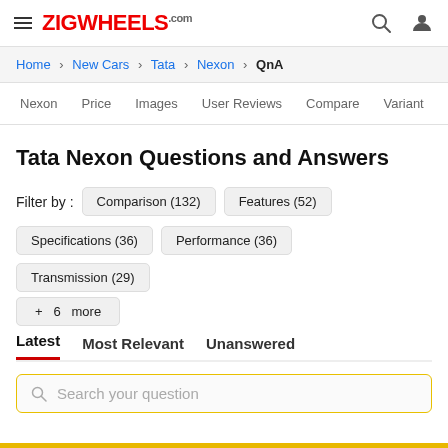ZIGWHEELS.com
Home > New Cars > Tata > Nexon > QnA
Nexon  Price  Images  User Reviews  Compare  Variant
Tata Nexon Questions and Answers
Filter by :  Comparison (132)  Features (52)  Specifications (36)  Performance (36)  Transmission (29)  + 6 more
Latest  Most Relevant  Unanswered
Search your question